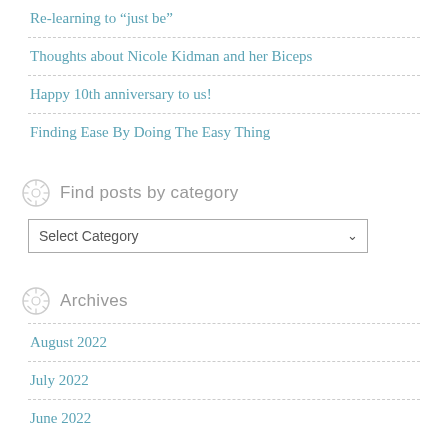Re-learning to “just be”
Thoughts about Nicole Kidman and her Biceps
Happy 10th anniversary to us!
Finding Ease By Doing The Easy Thing
Find posts by category
Select Category
Archives
August 2022
July 2022
June 2022